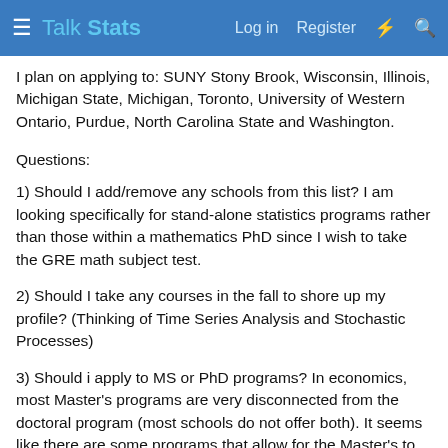Talk Stats  Log in  Register
I plan on applying to: SUNY Stony Brook, Wisconsin, Illinois, Michigan State, Michigan, Toronto, University of Western Ontario, Purdue, North Carolina State and Washington.
Questions:
1) Should I add/remove any schools from this list? I am looking specifically for stand-alone statistics programs rather than those within a mathematics PhD since I wish to take the GRE math subject test.
2) Should I take any courses in the fall to shore up my profile? (Thinking of Time Series Analysis and Stochastic Processes)
3) Should i apply to MS or PhD programs? In economics, most Master's programs are very disconnected from the doctoral program (most schools do not offer both). It seems like there are some programs that allow for the Master's to be a stepping